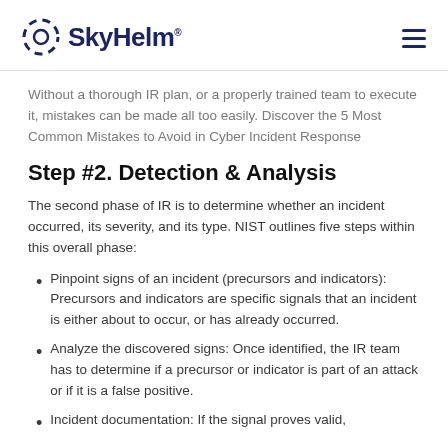SkyHelm
Without a thorough IR plan, or a properly trained team to execute it, mistakes can be made all too easily. Discover the 5 Most Common Mistakes to Avoid in Cyber Incident Response
Step #2. Detection & Analysis
The second phase of IR is to determine whether an incident occurred, its severity, and its type. NIST outlines five steps within this overall phase:
Pinpoint signs of an incident (precursors and indicators): Precursors and indicators are specific signals that an incident is either about to occur, or has already occurred.
Analyze the discovered signs: Once identified, the IR team has to determine if a precursor or indicator is part of an attack or if it is a false positive.
Incident documentation: If the signal proves valid,